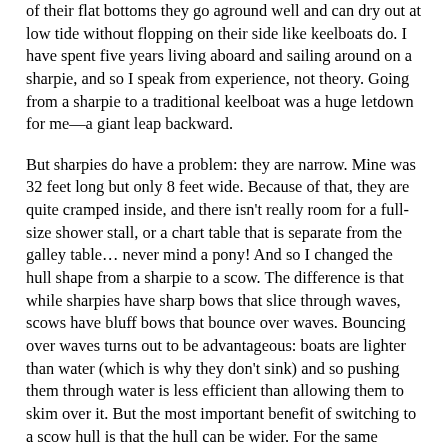of their flat bottoms they go aground well and can dry out at low tide without flopping on their side like keelboats do. I have spent five years living aboard and sailing around on a sharpie, and so I speak from experience, not theory. Going from a sharpie to a traditional keelboat was a huge letdown for me—a giant leap backward.

But sharpies do have a problem: they are narrow. Mine was 32 feet long but only 8 feet wide. Because of that, they are quite cramped inside, and there isn't really room for a full-size shower stall, or a chart table that is separate from the galley table… never mind a pony! And so I changed the hull shape from a sharpie to a scow. The difference is that while sharpies have sharp bows that slice through waves, scows have bluff bows that bounce over waves. Bouncing over waves turns out to be advantageous: boats are lighter than water (which is why they don't sink) and so pushing them through water is less efficient than allowing them to skim over it. But the most important benefit of switching to a scow hull is that the hull can be wider. For the same length (36 feet) the beam can go from 13 feet to 16 feet, adding close to a hundred square feet to both the deck and the cabin. Not